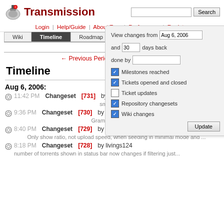Transmission
Login | Help/Guide | About Trac | Preferences | Register
Wiki | Timeline | Roadmap | Browse Source | View Tickets | Search
← Previous Period | Next Period →
Timeline
Aug 6, 2006:
11:42 PM Changeset [731] by livings124 — small cleanup
9:36 PM Changeset [730] by livings124 — Grammar fix in Help.
8:40 PM Changeset [729] by livings124 — Only show ratio, not upload speed, when seeding in minimal mode and ...
8:18 PM Changeset [728] by livings124 — number of torrents shown in status bar now changes if filtering just...